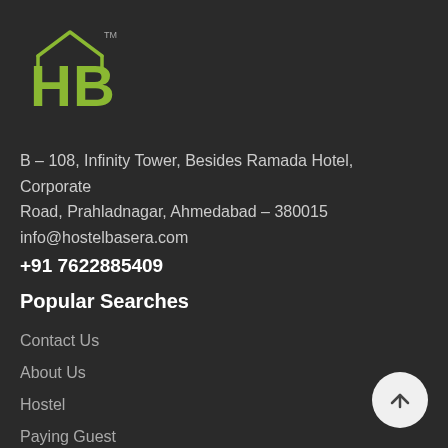[Figure (logo): HB hostel basera logo with TM mark, house icon above, stylized H and 3 letters in green/lime color]
B – 108, Infinity Tower, Besides Ramada Hotel, Corporate Road, Prahladnagar, Ahmedabad – 380015
info@hostelbasera.com
+91 7622885409
Popular Searches
Contact Us
About Us
Hostel
Paying Guest